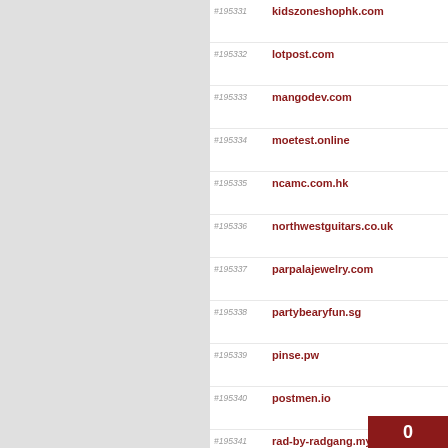#195331 kidszoneshophk.com
#195332 lotpost.com
#195333 mangodev.com
#195334 moetest.online
#195335 ncamc.com.hk
#195336 northwestguitars.co.uk
#195337 parpalajewelry.com
#195338 partybearyfun.sg
#195339 pinse.pw
#195340 postmen.io
#195341 rad-by-radgang.myshopify.
#195342 royalplaza.com.hk
#195343 sachella.collectiv...